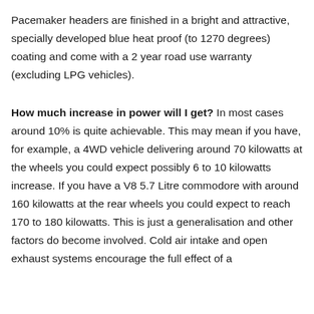Pacemaker headers are finished in a bright and attractive, specially developed blue heat proof (to 1270 degrees) coating and come with a 2 year road use warranty (excluding LPG vehicles).
How much increase in power will I get? In most cases around 10% is quite achievable. This may mean if you have, for example, a 4WD vehicle delivering around 70 kilowatts at the wheels you could expect possibly 6 to 10 kilowatts increase. If you have a V8 5.7 Litre commodore with around 160 kilowatts at the rear wheels you could expect to reach 170 to 180 kilowatts. This is just a generalisation and other factors do become involved. Cold air intake and open exhaust systems encourage the full effect of a